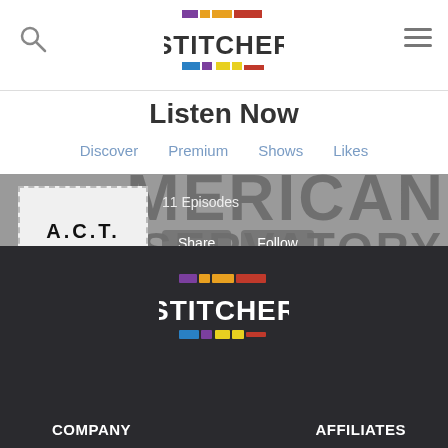[Figure (logo): Stitcher logo in header — colorful block grid above/below STITCHER wordmark]
Listen Now
Discover   Premium   Shows   Likes
[Figure (screenshot): A.C.T. American Conservatory Theater podcast banner with logo box, '11 Episodes', Share and Follow buttons, dark background with large typography]
[Figure (logo): Stitcher logo in footer — colorful block grid above/below STITCHER wordmark on dark background]
COMPANY
AFFILIATES